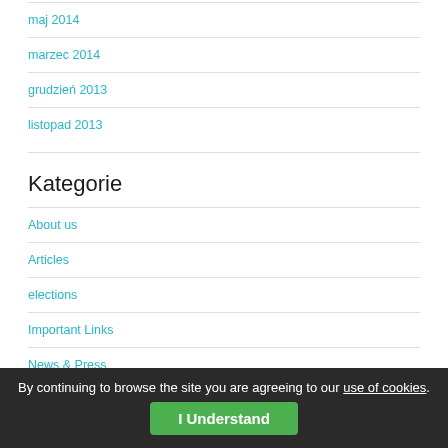maj 2014
marzec 2014
grudzień 2013
listopad 2013
Kategorie
About us
Articles
elections
Important Links
News & Press
None
Our Partners
Social media
Meta
Zarejestruj się
By continuing to browse the site you are agreeing to our use of cookies.
I Understand